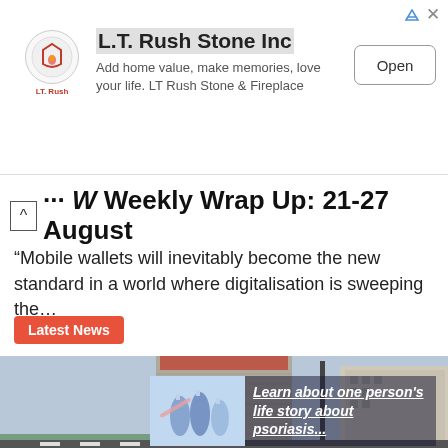[Figure (other): Advertisement banner for L.T. Rush Stone Inc with logo, title, description text, and Open button]
... W Weekly Wrap Up: 21-27 August
“Mobile wallets will inevitably become the new standard in a world where digitalisation is sweeping the…
Latest News
[Figure (photo): A tall under-construction cylindrical high-rise building in an urban area with other buildings visible]
[Figure (photo): Overlay ad thumbnail showing medical vials/syringes with text: Learn about one person’s life story about psoriasis...]